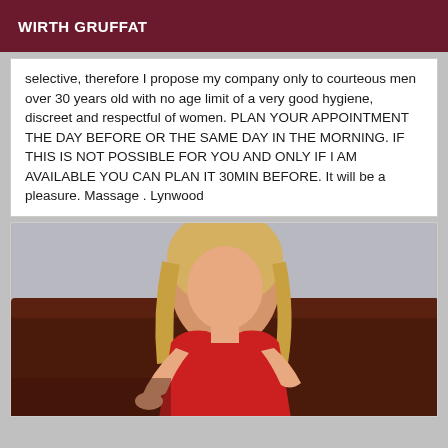WIRTH GRUFFAT
selective, therefore I propose my company only to courteous men over 30 years old with no age limit of a very good hygiene, discreet and respectful of women. PLAN YOUR APPOINTMENT THE DAY BEFORE OR THE SAME DAY IN THE MORNING. IF THIS IS NOT POSSIBLE FOR YOU AND ONLY IF I AM AVAILABLE YOU CAN PLAN IT 30MIN BEFORE. It will be a pleasure. Massage . Lynwood
[Figure (photo): A blonde woman in a red outfit seated on a dark leather couch]